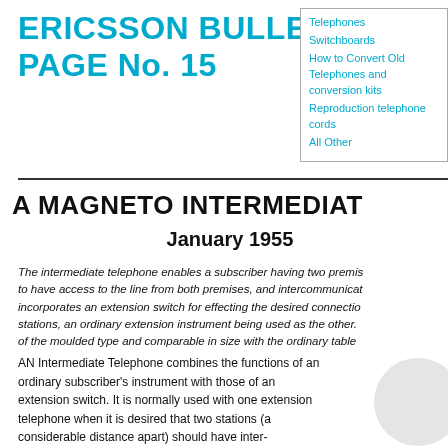ERICSSON BULLETIN No. PAGE No. 15
Telephones
Switchboards
How to Convert Old Telephones and conversion kits
Reproduction telephone cords
All Other
A MAGNETO INTERMEDIATE
January 1955
The intermediate telephone enables a subscriber having two premises to have access to the line from both premises, and intercommunication incorporates an extension switch for effecting the desired connections stations, an ordinary extension instrument being used as the other. of the moulded type and comparable in size with the ordinary table
AN Intermediate Telephone combines the functions of an ordinary subscriber’s instrument with those of an extension switch. It is normally used with one extension telephone when it is desired that two stations (a considerable distance apart) should have inter-communication and access to the same exchange line, the intermediate telephone being